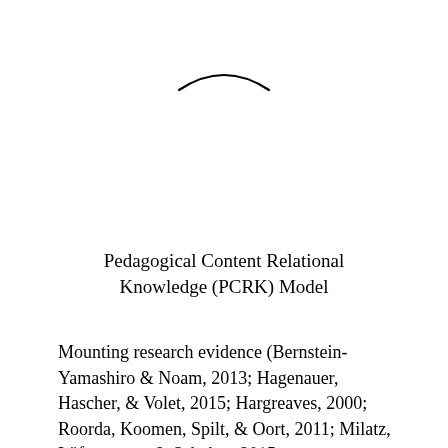[Figure (other): A decorative arc/smile curve centered near the top of the page]
Pedagogical Content Relational Knowledge (PCRK) Model
Mounting research evidence (Bernstein-Yamashiro & Noam, 2013; Hagenauer, Hascher, & Volet, 2015; Hargreaves, 2000; Roorda, Koomen, Spilt, & Oort, 2011; Milatz, Lüftenegger, & Schober, 2015;